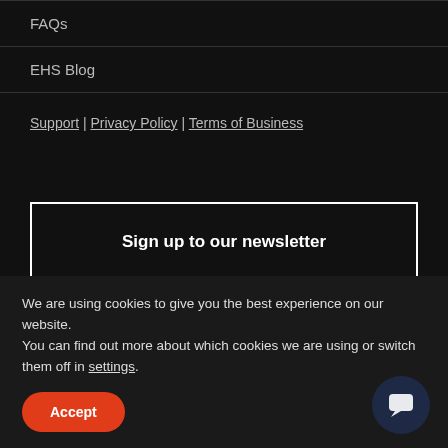FAQs
EHS Blog
Support | Privacy Policy | Terms of Business
Sign up to our newsletter
We are using cookies to give you the best experience on our website.
You can find out more about which cookies we are using or switch them off in settings.
Accept